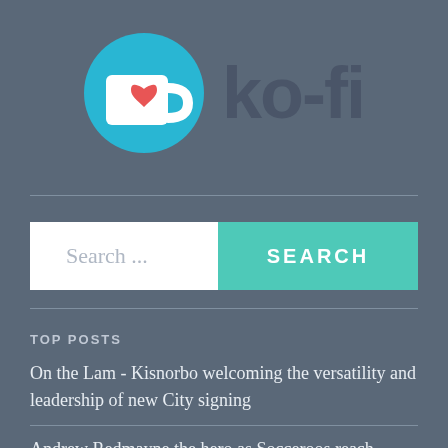[Figure (logo): Ko-fi logo: blue circle with white coffee cup and red heart icon, next to the text 'ko-fi' in large dark grey letters]
Search ...
SEARCH
TOP POSTS
On the Lam - Kisnorbo welcoming the versatility and leadership of new City signing
Andrew Redmayne the hero as Socceroos reach World Cup with shootout win over Peru